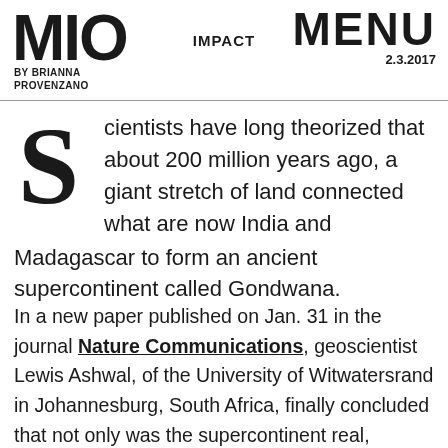MIO | BY BRIANNA PROVENZANO | IMPACT | MENU 2.3.2017
Scientists have long theorized that about 200 million years ago, a giant stretch of land connected what are now India and Madagascar to form an ancient supercontinent called Gondwana.
In a new paper published on Jan. 31 in the journal Nature Communications, geoscientist Lewis Ashwal, of the University of Witwatersrand in Johannesburg, South Africa, finally concluded that not only was the supercontinent real, fragments of it still exist — sunken leagues beneath the tiny isle of